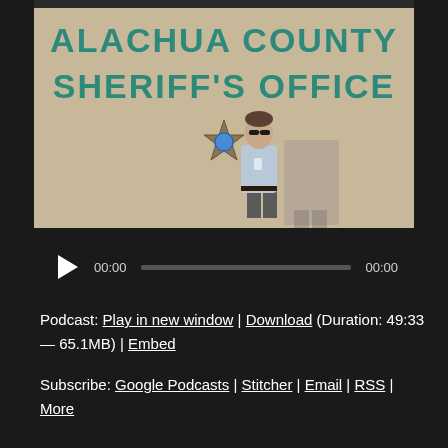[Figure (photo): A man in a light blue shirt standing in front of the Alachua County Sheriff's Office building wall, which has teal-colored lettering and a sheriff's star badge emblem.]
00:00  00:00
Podcast: Play in new window | Download (Duration: 49:33 — 65.1MB) | Embed
Subscribe: Google Podcasts | Stitcher | Email | RSS | More